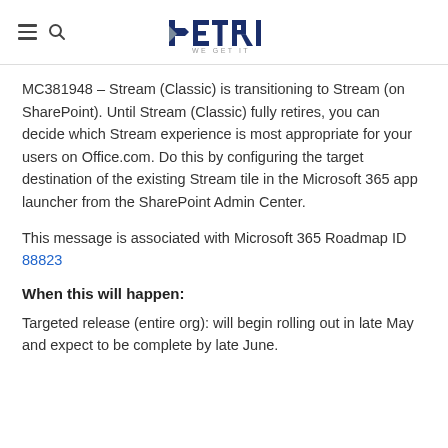PETRI — WE GET IT
MC381948 – Stream (Classic) is transitioning to Stream (on SharePoint). Until Stream (Classic) fully retires, you can decide which Stream experience is most appropriate for your users on Office.com. Do this by configuring the target destination of the existing Stream tile in the Microsoft 365 app launcher from the SharePoint Admin Center.
This message is associated with Microsoft 365 Roadmap ID 88823
When this will happen:
Targeted release (entire org): will begin rolling out in late May and expect to be complete by late June.